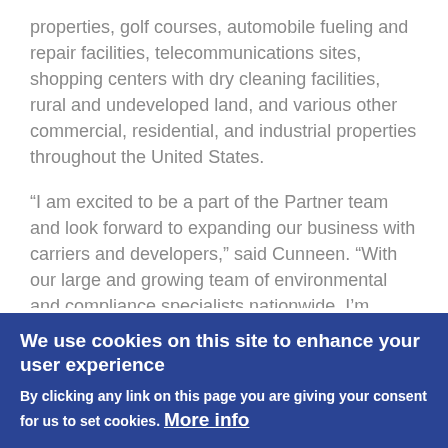properties, golf courses, automobile fueling and repair facilities, telecommunications sites, shopping centers with dry cleaning facilities, rural and undeveloped land, and various other commercial, residential, and industrial properties throughout the United States.
“I am excited to be a part of the Partner team and look forward to expanding our business with carriers and developers,” said Cunneen. “With our large and growing team of environmental and compliance specialists nationwide, I’m confident that Partner is the right answer for the rapidly expanding telecom industry.”
We use cookies on this site to enhance your user experience
By clicking any link on this page you are giving your consent for us to set cookies. More info